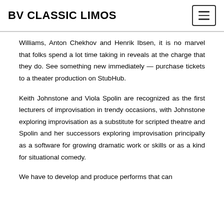BV CLASSIC LIMOS
Williams, Anton Chekhov and Henrik Ibsen, it is no marvel that folks spend a lot time taking in reveals at the charge that they do. See something new immediately — purchase tickets to a theater production on StubHub.
Keith Johnstone and Viola Spolin are recognized as the first lecturers of improvisation in trendy occasions, with Johnstone exploring improvisation as a substitute for scripted theatre and Spolin and her successors exploring improvisation principally as a software for growing dramatic work or skills or as a kind for situational comedy.
We have to develop and produce performs that can